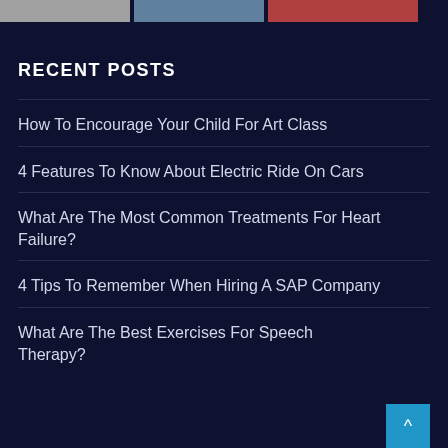[Figure (photo): Three partially visible thumbnail images at the top of the page]
RECENT POSTS
How To Encourage Your Child For Art Class
4 Features To Know About Electric Ride On Cars
What Are The Most Common Treatments For Heart Failure?
4 Tips To Remember When Hiring A SAP Company
What Are The Best Exercises For Speech Therapy?